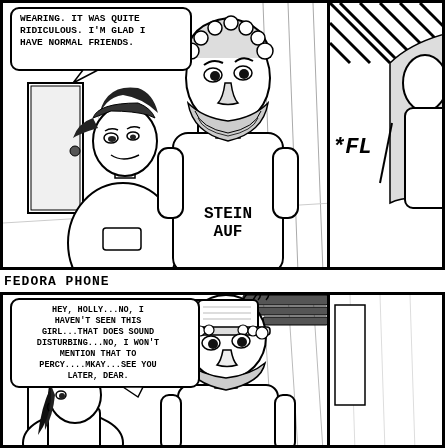[Figure (illustration): Comic strip panel showing two characters standing in a hallway. One character wears a backwards cap with dark hair; the other is taller with curly hair and a beard, wearing a sweatshirt reading 'STEIN AUF'. A speech bubble reads: 'WEARING. IT WAS QUITE RIDICULOUS. I'M GLAD I HAVE NORMAL FRIENDS.']
[Figure (illustration): Partial right panel of comic strip with diagonal lines pattern and the text '*FL']
FEDORA PHONE
[Figure (illustration): Bottom comic panel showing two characters in a hallway. The taller character with curly hair and beard holds a phone on their head like a fedora hat. Speech bubble reads: 'HEY, HOLLY...NO, I HAVEN'T SEEN THIS GIRL...THAT DOES SOUND DISTURBING...NO, I WON'T MENTION THAT TO PERCY....MKAY...SEE YOU LATER, DEAR.']
[Figure (illustration): Partial right bottom panel of comic strip, mostly white/blank]